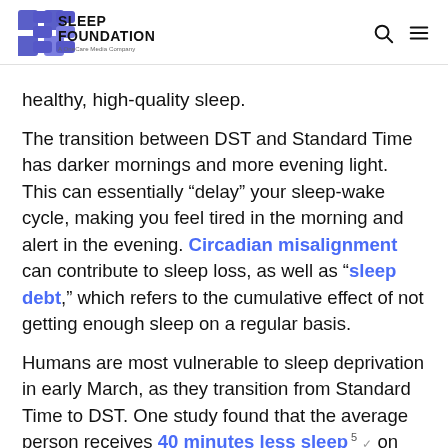SLEEP FOUNDATION — A OneCare Media Company
healthy, high-quality sleep.
The transition between DST and Standard Time has darker mornings and more evening light. This can essentially “delay” your sleep-wake cycle, making you feel tired in the morning and alert in the evening. Circadian misalignment can contribute to sleep loss, as well as “sleep debt,” which refers to the cumulative effect of not getting enough sleep on a regular basis.
Humans are most vulnerable to sleep deprivation in early March, as they transition from Standard Time to DST. One study found that the average person receives 40 minutes less sleep⁵ on the Monday